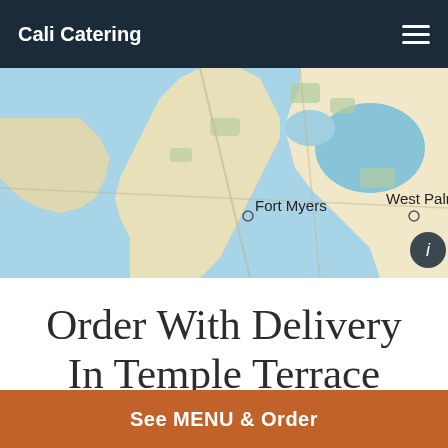Cali Catering
[Figure (map): A map showing the Florida coast with Fort Myers and West Palm Beach labeled. Blue water on the left, land in tan/light yellow, with labeled city markers.]
Order With Delivery In Temple Terrace
Yes, we're located near Temple Terrace and are delighted to take your online order.
Take time to browse our interactive online menu and place the order when ready. It takes us about a minute to confirm
See MENU & Order